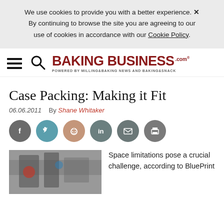We use cookies to provide you with a better experience. ✕ By continuing to browse the site you are agreeing to our use of cookies in accordance with our Cookie Policy.
[Figure (logo): BakingBusiness.com logo with hamburger menu and search icon. Powered by Milling&Baking News and Baking&Snack]
Case Packing: Making it Fit
06.06.2011   By Shane Whitaker
[Figure (infographic): Social sharing icons: Facebook, Twitter, Reddit, LinkedIn, Email, Print]
[Figure (photo): Photo of baking/packaging machinery]
Space limitations pose a crucial challenge, according to BluePrint